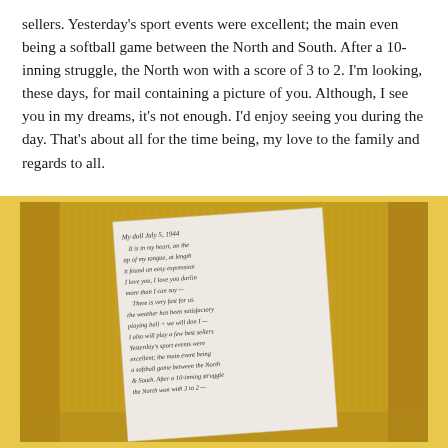sellers. Yesterday's sport events were excellent; the main even being a softball game between the North and South. After a 10-inning struggle, the North won with a score of 3 to 2. I'm looking, these days, for mail containing a picture of you. Although, I see you in my dreams, it's not enough. I'd enjoy seeing you during the day. That's about all for the time being, my love to the family and regards to all.
[Figure (photo): A handwritten letter on white paper placed on a yellow knitted fabric background. The letter appears to be dated July and contains cursive handwriting. The visible text includes references to sport events, a softball game between North and South, and personal sentiments.]